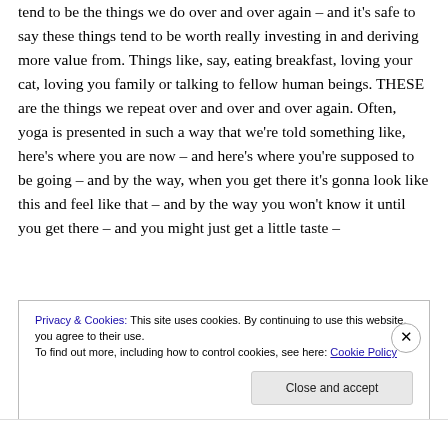tend to be the things we do over and over again – and it's safe to say these things tend to be worth really investing in and deriving more value from. Things like, say, eating breakfast, loving your cat, loving you family or talking to fellow human beings. THESE are the things we repeat over and over and over again. Often, yoga is presented in such a way that we're told something like, here's where you are now – and here's where you're supposed to be going – and by the way, when you get there it's gonna look like this and feel like that – and by the way you won't know it until you get there – and you might just get a little taste –
Privacy & Cookies: This site uses cookies. By continuing to use this website, you agree to their use.
To find out more, including how to control cookies, see here: Cookie Policy
Close and accept